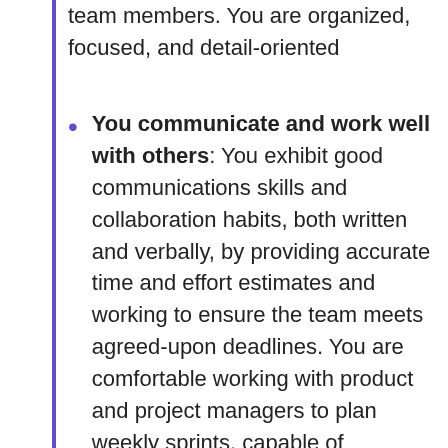team members. You are organized, focused, and detail-oriented
You communicate and work well with others: You exhibit good communications skills and collaboration habits, both written and verbally, by providing accurate time and effort estimates and working to ensure the team meets agreed-upon deadlines. You are comfortable working with product and project managers to plan weekly sprints, capable of prioritizing and undertaking multiple